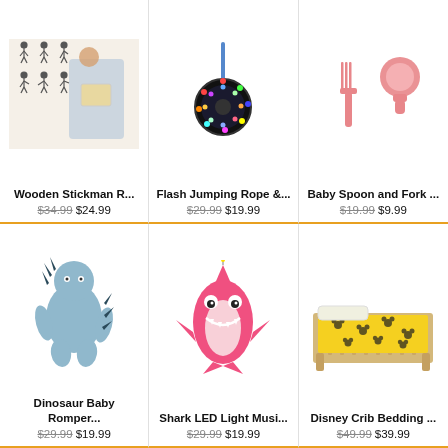[Figure (photo): Wooden Stickman puzzle pieces and child holding a book]
Wooden Stickman R...
$34.99 $24.99
[Figure (photo): Flash Jumping Rope with glowing LED wheel]
Flash Jumping Rope &...
$29.99 $19.99
[Figure (photo): Pink baby spoon and fork silicone set]
Baby Spoon and Fork ...
$19.99 $9.99
[Figure (photo): Baby in blue dinosaur romper costume]
Dinosaur Baby Romper...
$29.99 $19.99
[Figure (photo): Pink shark LED light musical plush toy]
Shark LED Light Musi...
$29.99 $19.99
[Figure (photo): Disney Mickey Mouse yellow crib bedding set on wooden crib]
Disney Crib Bedding ...
$49.99 $39.99